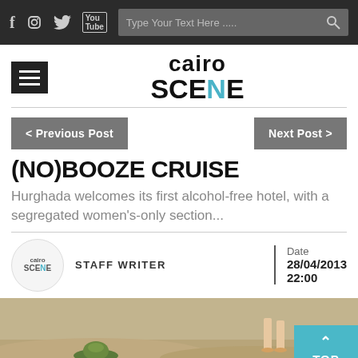CairoScene website header with social icons (Facebook, Instagram, Twitter, YouTube) and search bar
[Figure (logo): Cairo Scene logo with hamburger menu icon]
< Previous Post
Next Post >
(NO)BOOZE CRUISE
Hurghada welcomes its first alcohol-free hotel, with a segregated women's-only section...
STAFF WRITER
Date
28/04/2013
22:00
[Figure (photo): Beach photo showing sand with a green hat and person's legs in background]